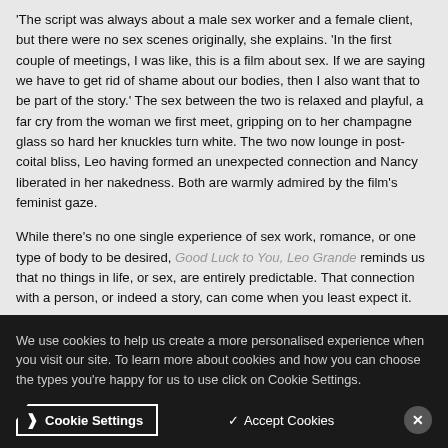'The script was always about a male sex worker and a female client, but there were no sex scenes originally, she explains. 'In the first couple of meetings, I was like, this is a film about sex. If we are saying we have to get rid of shame about our bodies, then I also want that to be part of the story.' The sex between the two is relaxed and playful, a far cry from the woman we first meet, gripping on to her champagne glass so hard her knuckles turn white. The two now lounge in post-coital bliss, Leo having formed an unexpected connection and Nancy liberated in her nakedness. Both are warmly admired by the film's feminist gaze.
While there's no one single experience of sex work, romance, or one type of body to be desired, Good Luck to You, Leo Grande reminds us that no things in life, or sex, are entirely predictable. That connection with a person, or indeed a story, can come when you least expect it.
We use cookies to help us create a more personalised experience when you visit our site. To learn more about cookies and how you can choose the types you're happy for us to use click on Cookie Settings.